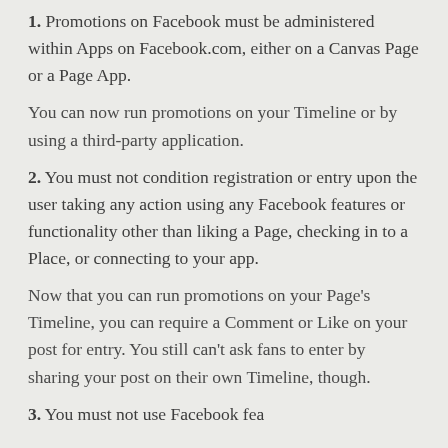1. Promotions on Facebook must be administered within Apps on Facebook.com, either on a Canvas Page or a Page App.
You can now run promotions on your Timeline or by using a third-party application.
2. You must not condition registration or entry upon the user taking any action using any Facebook features or functionality other than liking a Page, checking in to a Place, or connecting to your app.
Now that you can run promotions on your Page's Timeline, you can require a Comment or Like on your post for entry. You still can't ask fans to enter by sharing your post on their own Timeline, though.
3. You must not use Facebook features...